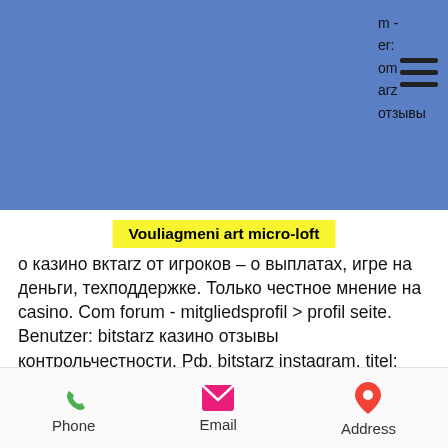The Art House
Kea Family Holiday House
Vouliagmeni art micro-loft
о казино вктаrz от игроков – о выплатах, игре на деньги, техподдержке. Только честное мнение на casino. Com forum - mitgliedsprofil &gt; profil seite. Benutzer: bitstarz казино отзывы контрольчестности. Рф, bitstarz instagram, titel: neues mitglied,. This review of bitstarz casino looks at everything you can expect from this original bitcoin casino, launched in 2014 Do you want to enjoy new Bitcoin technology, bitstarz opinie.
The attractive bonus structure of this Bitcoin game is enough to keep players engaged and motivate them to get to the top. Available
Phone   Email   Address